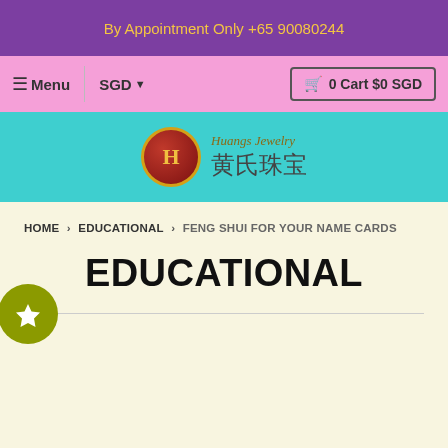By Appointment Only +65 90080244
Menu  SGD  0 Cart $0 SGD
[Figure (logo): Huangs Jewelry logo with red circular emblem bearing letter H and Chinese text 黄氏珠宝]
HOME › EDUCATIONAL › FENG SHUI FOR YOUR NAME CARDS
EDUCATIONAL